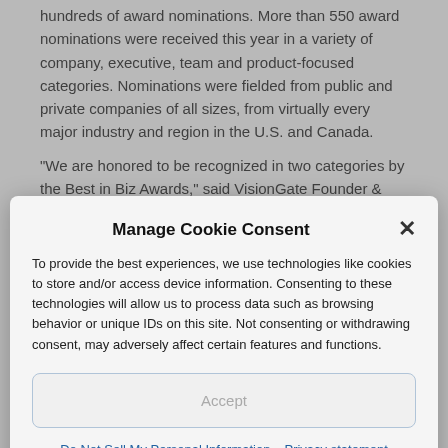hundreds of award nominations. More than 550 award nominations were received this year in a variety of company, executive, team and product-focused categories. Nominations were fielded from public and private companies of all sizes, from virtually every major industry and region in the U.S. and Canada.
“We are honored to be recognized in two categories by the Best in Biz Awards,” said VisionGate Founder & CEO Dr. Alan Nelson. “This award is a result of our commitment to
Manage Cookie Consent
To provide the best experiences, we use technologies like cookies to store and/or access device information. Consenting to these technologies will allow us to process data such as browsing behavior or unique IDs on this site. Not consenting or withdrawing consent, may adversely affect certain features and functions.
Accept
Do Not Sell My Personal Information  Privacy statement